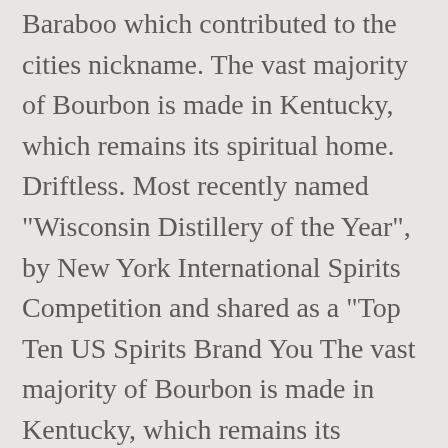Baraboo which contributed to the cities nickname. The vast majority of Bourbon is made in Kentucky, which remains its spiritual home. Driftless. Most recently named "Wisconsin Distillery of the Year", by New York International Spirits Competition and shared as a "Top Ten US Spirits Brand You The vast majority of Bourbon is made in Kentucky, which remains its spiritual home. This region is distinctive to the rest of the world because of the combination of temperature, water and soil. This region is distinctive to the rest of the world because of the combination of temperature, water and soil. Wisconsin- DG Bourbon Whiskey is handcrafted using local ingredients from the Driftless Region of